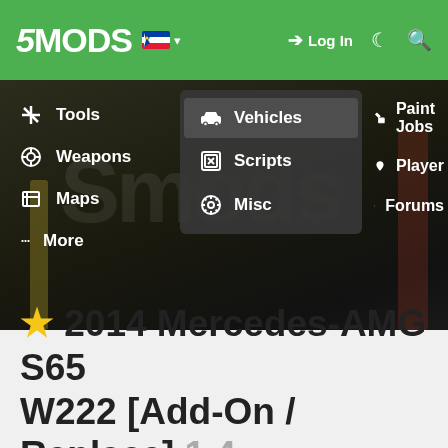5MODS — Log In
[Figure (screenshot): 5Mods website navigation screenshot showing a green header bar with the 5MODS logo, Slovenian flag, Log In button, and a dropdown navigation menu with items: Tools, Vehicles (highlighted), Paint Jobs, Weapons, Scripts, Player, Maps, Misc, Forums, More — displayed over a dark blurred background]
⭐ 2014 Mercedes-AMG S65 W222 [Add-On / Replace] 1.4